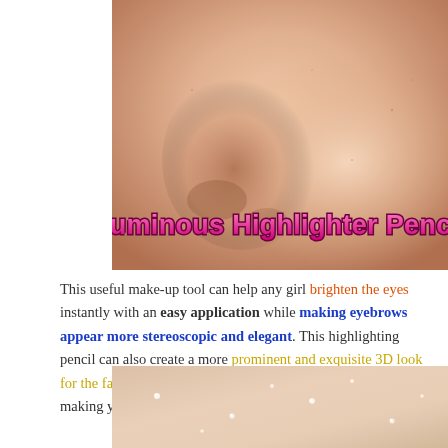[Figure (photo): Close-up photo of a person's nose and cheek area showing skin texture, with overlaid title text 'Luminous Highlighter Pencil' in pink/magenta bold decorative font]
This useful make-up tool can help any girl brighten the eyes instantly with an easy application while making eyebrows appear more stereoscopic and elegant. This highlighting pencil can also create a more prominent and exquisite 3D look for the face, and has a fine, soft, and non-sticky texture, making you say goodbye to messy powder application.
[Figure (photo): Close-up photo of skin texture showing a smooth area with subtle shimmer/glitter highlights from the highlighter pencil]